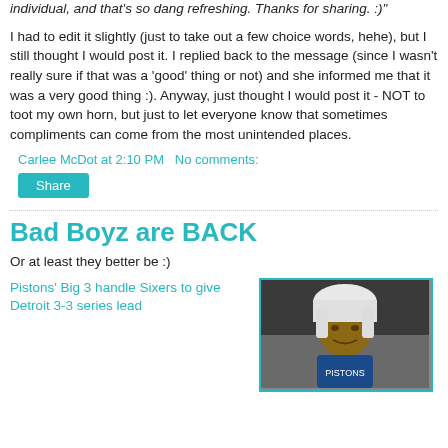individual, and that's so dang refreshing. Thanks for sharing. :)"
I had to edit it slightly (just to take out a few choice words, hehe), but I still thought I would post it. I replied back to the message (since I wasn't really sure if that was a 'good' thing or not) and she informed me that it was a very good thing :). Anyway, just thought I would post it - NOT to toot my own horn, but just to let everyone know that sometimes compliments can come from the most unintended places.
Carlee McDot at 2:10 PM   No comments:
Share
Bad Boyz are BACK
Or at least they better be :)
Pistons' Big 3 handle Sixers to give Detroit 3-3 series lead
[Figure (photo): Photo of a basketball player with a white towel over his head]